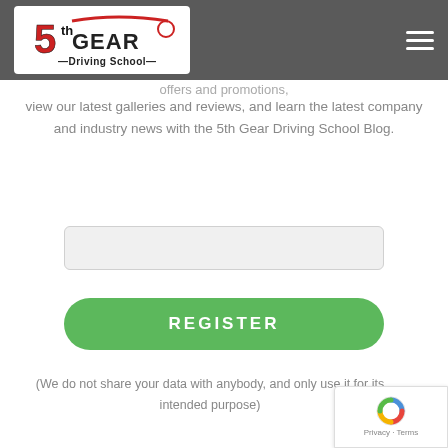Newsletter
[Figure (logo): 5th Gear Driving School logo with red and black text on white background]
view our latest galleries and reviews, and learn the latest company and industry news with the 5th Gear Driving School Blog.
(We do not share your data with anybody, and only use it for its intended purpose)